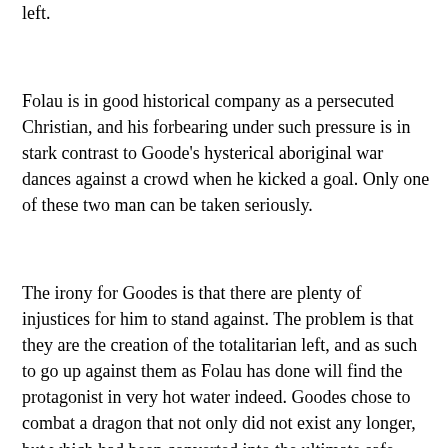left.
Folau is in good historical company as a persecuted Christian, and his forbearing under such pressure is in stark contrast to Goode's hysterical aboriginal war dances against a crowd when he kicked a goal. Only one of these two man can be taken seriously.
The irony for Goodes is that there are plenty of injustices for him to stand against. The problem is that they are the creation of the totalitarian left, and as such to go up against them as Folau has done will find the protagonist in very hot water indeed. Goodes chose to combat a dragon that not only did not exist any longer, but which had been converted into the ultimate safe space for bedroom activists. His pathetic attempts to seek outrage and injustice in a sport that had given him more than the vast majority of fans would ever have in their own lives led him to be ostracized by those same good people. At no point in Goode's